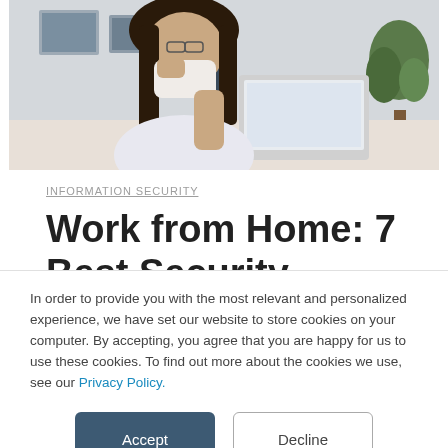[Figure (photo): Woman wearing a face mask sitting at a desk, looking at a smartphone while using a laptop. Indoor office/home setting.]
INFORMATION SECURITY
Work from Home: 7 Best Security Practices for
In order to provide you with the most relevant and personalized experience, we have set our website to store cookies on your computer. By accepting, you agree that you are happy for us to use these cookies. To find out more about the cookies we use, see our Privacy Policy.
Accept | Decline